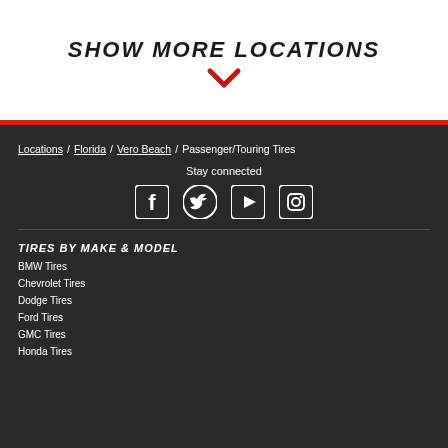SHOW MORE LOCATIONS
[Figure (illustration): Red downward chevron/arrow icon]
Locations / Florida / Vero Beach / Passenger/Touring Tires
Stay connected
[Figure (illustration): Social media icons: Facebook, Twitter, YouTube, Instagram]
TIRES BY MAKE & MODEL
BMW Tires
Chevrolet Tires
Dodge Tires
Ford Tires
GMC Tires
Honda Tires